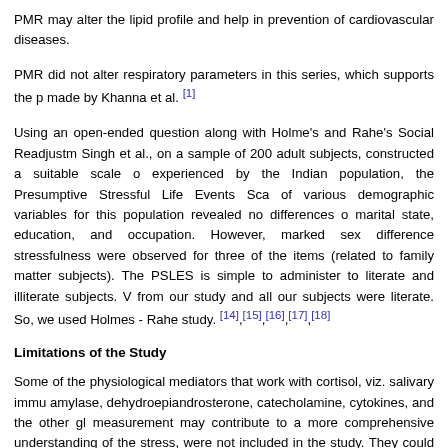PMR may alter the lipid profile and help in prevention of cardiovascular diseases.
PMR did not alter respiratory parameters in this series, which supports the p made by Khanna et al. [1]
Using an open-ended question along with Holme's and Rahe's Social Readjustm Singh et al., on a sample of 200 adult subjects, constructed a suitable scale o experienced by the Indian population, the Presumptive Stressful Life Events Sca of various demographic variables for this population revealed no differences o marital state, education, and occupation. However, marked sex difference stressfulness were observed for three of the items (related to family matter subjects). The PSLES is simple to administer to literate and illiterate subjects. from our study and all our subjects were literate. So, we used Holmes - Rah study. [14],[15],[16],[17],[18]
Limitations of the Study
Some of the physiological mediators that work with cortisol, viz. salivary immu amylase, dehydroepiandrosterone, catecholamine, cytokines, and the other gl measurement may contribute to a more comprehensive understanding of the stress, were not included in the study. They could have thrown further light. Th not been given on the basis of the PSLES and females were excluded. This may study.